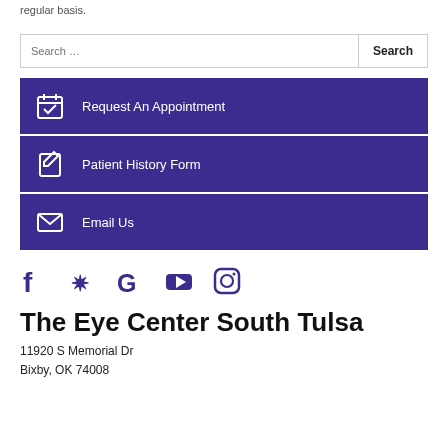regular basis.
Search …
Request An Appointment
Patient History Form
Email Us
[Figure (infographic): Social media icons: Facebook, Yelp, Google, YouTube, Instagram — all in dark purple]
The Eye Center South Tulsa
11920 S Memorial Dr
Bixby, OK 74008